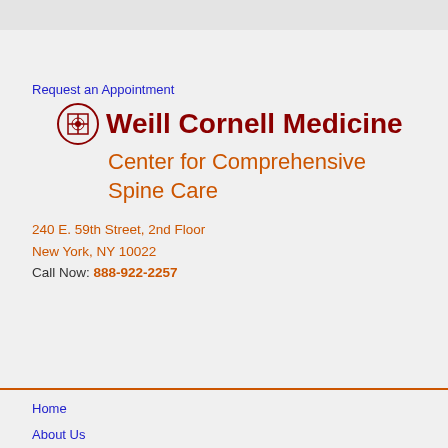Request an Appointment
Weill Cornell Medicine Center for Comprehensive Spine Care
240 E. 59th Street, 2nd Floor
New York, NY 10022
Call Now: 888-922-2257
Home
About Us